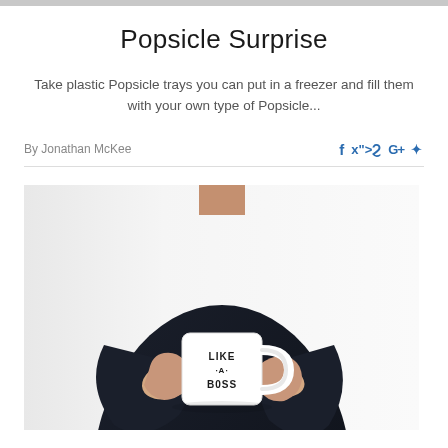Popsicle Surprise
Take plastic Popsicle trays you can put in a freezer and fill them with your own type of Popsicle...
By Jonathan McKee
[Figure (photo): Person wearing a dark long-sleeve top holding a white mug that reads 'LIKE A BOSS', photo cropped at neck level with a light background]